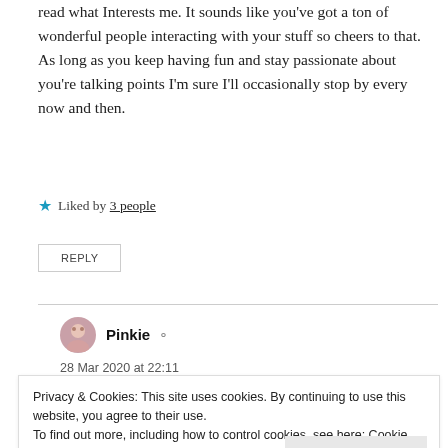read what Interests me. It sounds like you've got a ton of wonderful people interacting with your stuff so cheers to that. As long as you keep having fun and stay passionate about you're talking points I'm sure I'll occasionally stop by every now and then.
Liked by 3 people
REPLY
Pinkie
28 Mar 2020 at 22:11
Privacy & Cookies: This site uses cookies. By continuing to use this website, you agree to their use.
To find out more, including how to control cookies, see here: Cookie Policy
Close and accept
me, rather that they take an approach to anime